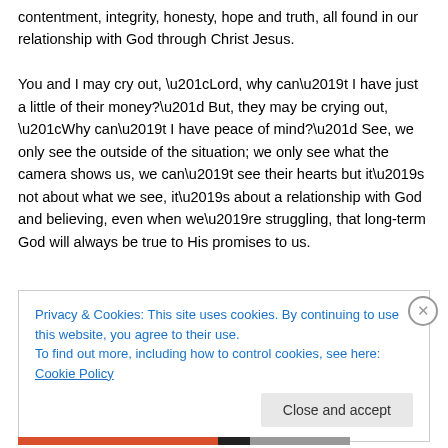contentment, integrity, honesty, hope and truth, all found in our relationship with God through Christ Jesus.

You and I may cry out, “Lord, why can’t I have just a little of their money?” But, they may be crying out, “Why can’t I have peace of mind?” See, we only see the outside of the situation; we only see what the camera shows us, we can’t see their hearts but it’s not about what we see, it’s about a relationship with God and believing, even when we’re struggling, that long-term God will always be true to His promises to us.
Privacy & Cookies: This site uses cookies. By continuing to use this website, you agree to their use.
To find out more, including how to control cookies, see here: Cookie Policy